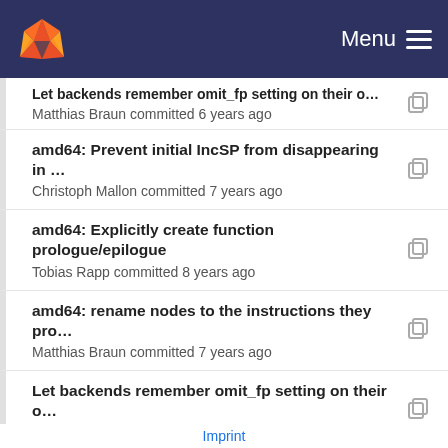Menu
Let backends remember omit_fp setting on their o…
Matthias Braun committed 6 years ago
amd64: Prevent initial IncSP from disappearing in …
Christoph Mallon committed 7 years ago
amd64: Explicitly create function prologue/epilogue
Tobias Rapp committed 8 years ago
amd64: rename nodes to the instructions they pro…
Matthias Braun committed 7 years ago
Let backends remember omit_fp setting on their o…
Matthias Braun committed 6 years ago
amd64: Explicitly create function prologue/epilogue
Tobias Rapp committed 8 years ago
amd64: Prevent initial IncSP from disappearing in …
Christoph Mallon committed 7 years ago
Let backends remember omit_fp setting on their o…
Imprint